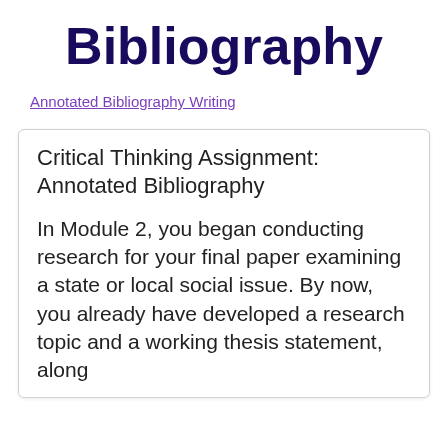Bibliography
Annotated Bibliography Writing
Critical Thinking Assignment: Annotated Bibliography
In Module 2, you began conducting research for your final paper examining a state or local social issue. By now, you already have developed a research topic and a working thesis statement, along